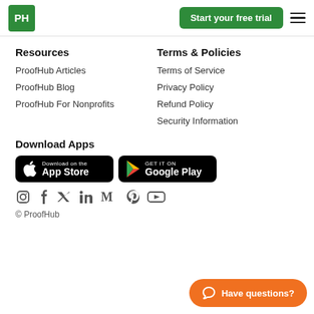PH | Start your free trial | ☰
Resources
ProofHub Articles
ProofHub Blog
ProofHub For Nonprofits
Terms & Policies
Terms of Service
Privacy Policy
Refund Policy
Security Information
Download Apps
[Figure (logo): Download on the App Store badge]
[Figure (logo): Get it on Google Play badge]
[Figure (infographic): Social media icons: Instagram, Facebook, Twitter, LinkedIn, Medium, Pinterest, YouTube]
© ProofHub
Have questions?